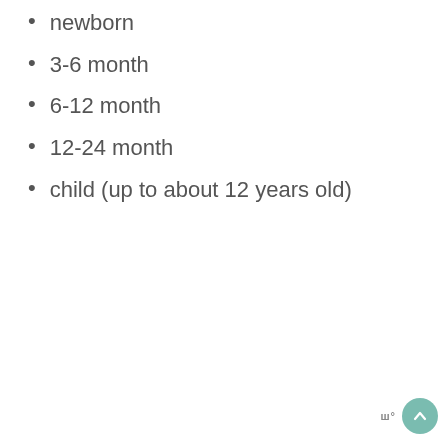newborn
3-6 month
6-12 month
12-24 month
child (up to about 12 years old)